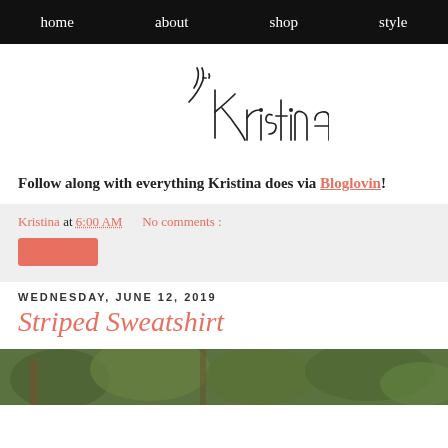home   about   shop   style
[Figure (illustration): Handwritten cursive signature reading 'y, Kristina']
Follow along with everything Kristina does via Bloglovin!
Kristina at 6:00 AM   No comments :
WEDNESDAY, JUNE 12, 2019
Striped Sweatshirt
[Figure (photo): Outdoor photo showing green foliage and trees, partially visible at bottom of page]